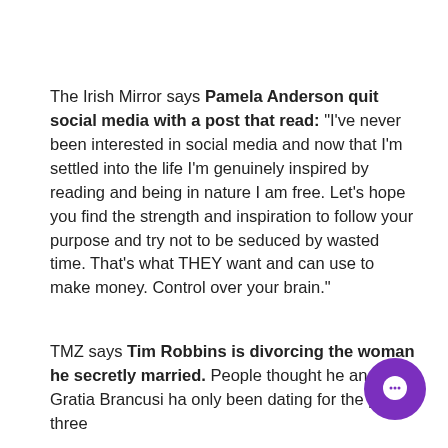The Irish Mirror says Pamela Anderson quit social media with a post that read: "I've never been interested in social media and now that I'm settled into the life I'm genuinely inspired by reading and being in nature I am free. Let's hope you find the strength and inspiration to follow your purpose and try not to be seduced by wasted time. That's what THEY want and can use to make money. Control over your brain."
TMZ says Tim Robbins is divorcing the woman he secretly married. People thought he and Gratia Brancusi ha only been dating for the past three